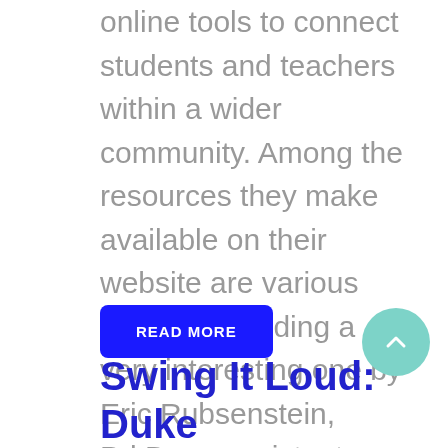online tools to connect students and teachers within a wider community. Among the resources they make available on their website are various articles, including a very interesting one by Eric Rubsenstein, Pd.D. an assistant professor of choral music at the Aaron Copland School of Music, Queens College, where he directs the treble choir and teaches...
READ MORE
Swing It Loud: Duke